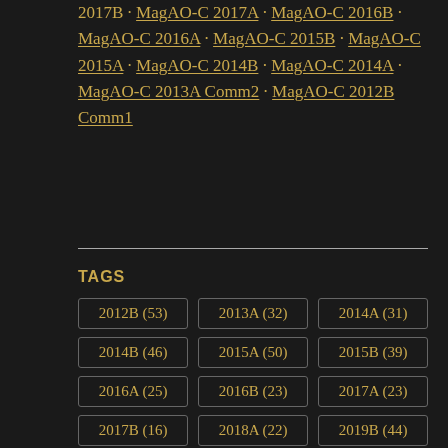2017B · MagAO-C 2017A · MagAO-C 2016B · MagAO-C 2016A · MagAO-C 2015B · MagAO-C 2015A · MagAO-C 2014B · MagAO-C 2014A · MagAO-C 2013A Comm2 · MagAO-C 2012B Comm1
TAGS
2012B (53) · 2013A (32) · 2014A (31) · 2014B (46) · 2015A (50) · 2015B (39) · 2016A (25) · 2016B (23) · 2017A (23) · 2017B (16) · 2018A (22) · 2019B (44)